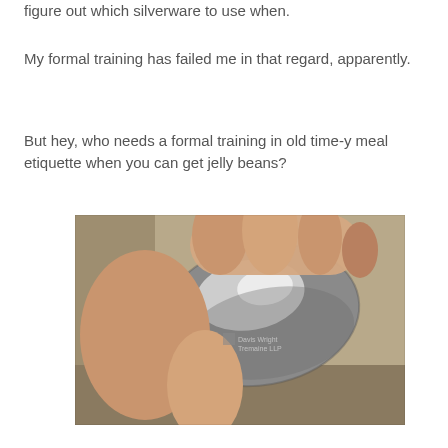figure out which silverware to use when.
My formal training has failed me in that regard, apparently.
But hey, who needs a formal training in old time-y meal etiquette when you can get jelly beans?
[Figure (photo): A hand holding a silver metallic jelly bean shaped object with a Davis Wright Tremaine LLP logo engraved on it, against a beige fabric background.]